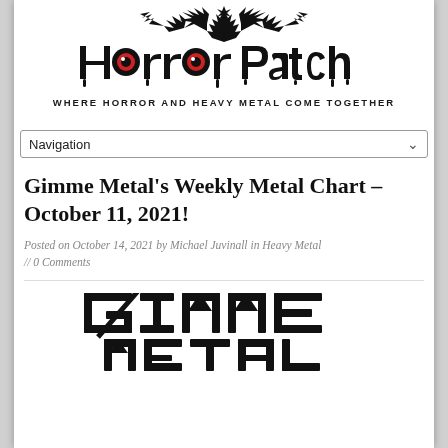[Figure (logo): Horror Patch website logo with dripping horror-style text 'Horror Patch' and tribal/demonic decorative elements above, tagline 'WHERE HORROR AND HEAVY METAL COME TOGETHER' below]
Navigation
Gimme Metal's Weekly Metal Chart – October 11, 2021!
Posted on October 14, 2021 by Michael Juvinall in Heavy Metal // 0 Comments
[Figure (logo): Gimme Metal logo in bold geometric black lettering]